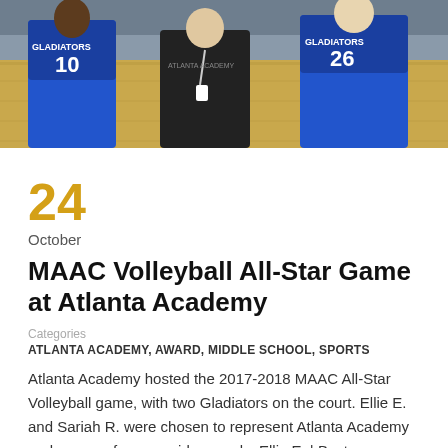[Figure (photo): Group photo of volleyball players in blue Gladiators jerseys (numbers 10 and 26 visible) with a coach in a dark shirt, standing in a gymnasium]
24
October
MAAC Volleyball All-Star Game at Atlanta Academy
Categories
ATLANTA ACADEMY, AWARD, MIDDLE SCHOOL, SPORTS
Atlanta Academy hosted the 2017-2018 MAAC All-Star Volleyball game, with two Gladiators on the court. Ellie E. and Sariah R. were chosen to represent Atlanta Academy and won conference wide awards. Ellie E. | Best Teammate Sariah R. | Best Passer